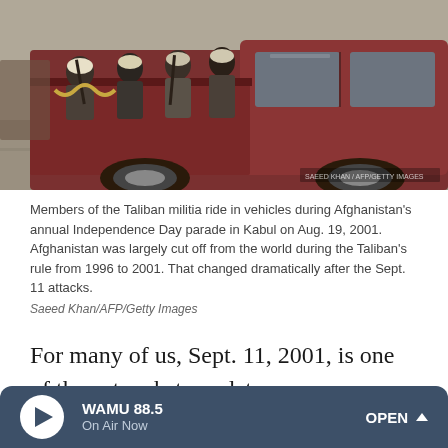[Figure (photo): Members of the Taliban militia riding in the bed of a dark red pickup truck, carrying weapons, during Afghanistan's annual Independence Day parade in Kabul on Aug. 19, 2001.]
Members of the Taliban militia ride in vehicles during Afghanistan's annual Independence Day parade in Kabul on Aug. 19, 2001. Afghanistan was largely cut off from the world during the Taliban's rule from 1996 to 2001. That changed dramatically after the Sept. 11 attacks.
Saeed Khan/AFP/Getty Images
For many of us, Sept. 11, 2001, is one of those touchstone dates — we remember exactly where we were when we heard that the planes hit the World Trade Center and the Pentagon. I was in Afghanistan.